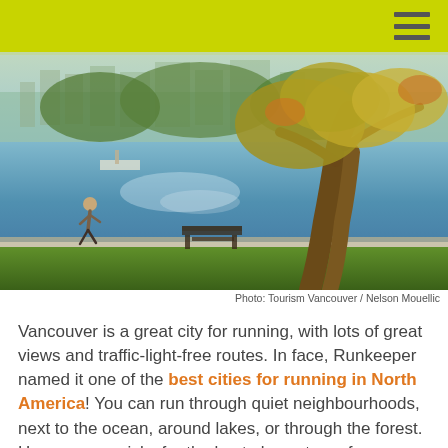[Figure (photo): A person running along a waterfront path next to a large tree, with a bench and city skyline visible across the water. Green grass in the foreground.]
Photo: Tourism Vancouver / Nelson Mouellic
Vancouver is a great city for running, with lots of great views and traffic-light-free routes. In face, Runkeeper named it one of the best cities for running in North America! You can run through quiet neighbourhoods, next to the ocean, around lakes, or through the forest. Here are our picks for the best places to go for a run around Vancouver.